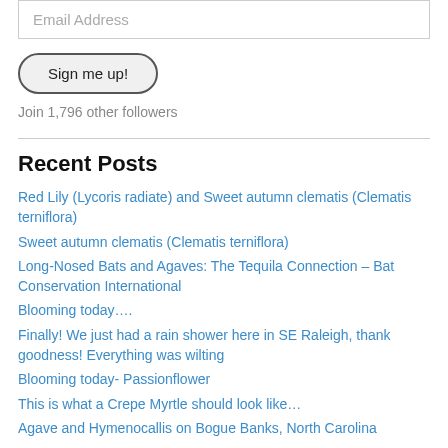Email Address
Sign me up!
Join 1,796 other followers
Recent Posts
Red Lily (Lycoris radiate) and Sweet autumn clematis (Clematis terniflora)
Sweet autumn clematis (Clematis terniflora)
Long-Nosed Bats and Agaves: The Tequila Connection – Bat Conservation International
Blooming today….
Finally! We just had a rain shower here in SE Raleigh, thank goodness! Everything was wilting
Blooming today- Passionflower
This is what a Crepe Myrtle should look like…
Agave and Hymenocallis on Bogue Banks, North Carolina